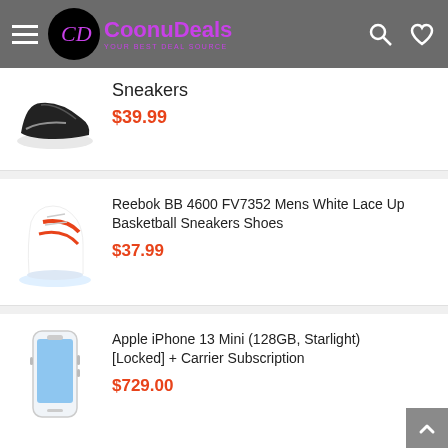CoonuDeals — Your Best Deal Source
Sneakers
$39.99
Reebok BB 4600 FV7352 Mens White Lace Up Basketball Sneakers Shoes
$37.99
Apple iPhone 13 Mini (128GB, Starlight) [Locked] + Carrier Subscription
$729.00
I Love You Mom Gift Blanket – Gifts for Mom – Birthday Gifts for Women – Unique Mom Gifts from Daughter or Son for Her Birthday, Mothers Day or...